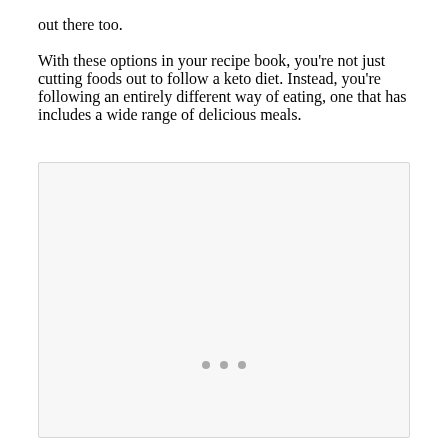out there too.
With these options in your recipe book, you’re not just cutting foods out to follow a keto diet. Instead, you’re following an entirely different way of eating, one that has includes a wide range of delicious meals.
[Figure (other): A large light gray placeholder image box with three small gray dots centered near the bottom, indicating a loading or placeholder image widget.]